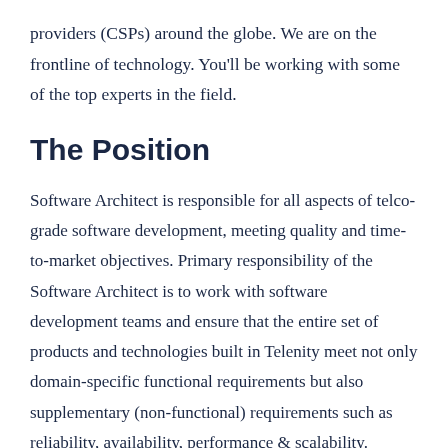providers (CSPs) around the globe. We are on the frontline of technology. You'll be working with some of the top experts in the field.
The Position
Software Architect is responsible for all aspects of telco-grade software development, meeting quality and time-to-market objectives. Primary responsibility of the Software Architect is to work with software development teams and ensure that the entire set of products and technologies built in Telenity meet not only domain-specific functional requirements but also supplementary (non-functional) requirements such as reliability, availability, performance & scalability.